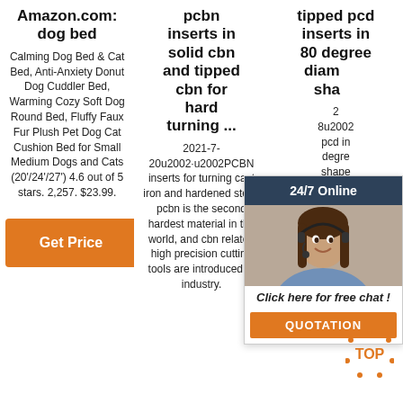Amazon.com: dog bed
Calming Dog Bed & Cat Bed, Anti-Anxiety Donut Dog Cuddler Bed, Warming Cozy Soft Dog Round Bed, Fluffy Faux Fur Plush Pet Dog Cat Cushion Bed for Small Medium Dogs and Cats (20'/24'/27') 4.6 out of 5 stars. 2,257. $23.99.
pcbn inserts in solid cbn and tipped cbn for hard turning ...
2021-7-20u2002·u2002PCBN inserts for turning cast iron and hardened steel: pcbn is the second hardest material in the world, and cbn related high precision cutting tools are introduced to industry.
tipped pcd inserts in 80 degree diamond shape
2 8u2002 pcd in degre shape turning m aluminum, the pcd insert cutting edges are made with polycrystalline diamond, indexable inserts with pcd
[Figure (photo): Customer service agent with headset, chat widget overlay with '24/7 Online' header, 'Click here for free chat!' text, and orange QUOTATION button]
[Figure (logo): TOP circular badge with orange dots]